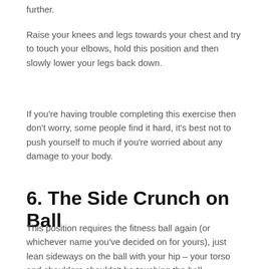further.
Raise your knees and legs towards your chest and try to touch your elbows, hold this position and then slowly lower your legs back down.
If you're having trouble completing this exercise then don't worry, some people find it hard, it's best not to push yourself to much if you're worried about any damage to your body.
6. The Side Crunch on Ball
This position requires the fitness ball again (or whichever name you've decided on for yours), just lean sideways on the ball with your hip – your torso and shoulders shouldn't be touching the ball.